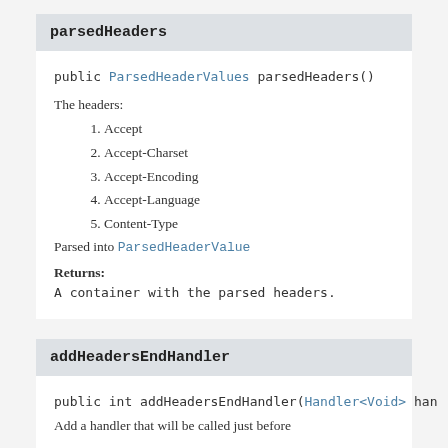parsedHeaders
public ParsedHeaderValues parsedHeaders()
The headers:
1. Accept
2. Accept-Charset
3. Accept-Encoding
4. Accept-Language
5. Content-Type
Parsed into ParsedHeaderValue
Returns:
A container with the parsed headers.
addHeadersEndHandler
public int addHeadersEndHandler(Handler<Void> ha
Add a handler that will be called just before